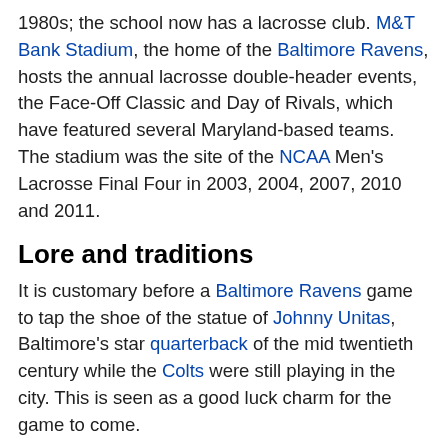1980s; the school now has a lacrosse club. M&T Bank Stadium, the home of the Baltimore Ravens, hosts the annual lacrosse double-header events, the Face-Off Classic and Day of Rivals, which have featured several Maryland-based teams. The stadium was the site of the NCAA Men's Lacrosse Final Four in 2003, 2004, 2007, 2010 and 2011.
Lore and traditions
It is customary before a Baltimore Ravens game to tap the shoe of the statue of Johnny Unitas, Baltimore's star quarterback of the mid twentieth century while the Colts were still playing in the city. This is seen as a good luck charm for the game to come.
When the national anthem is played at an Orioles or